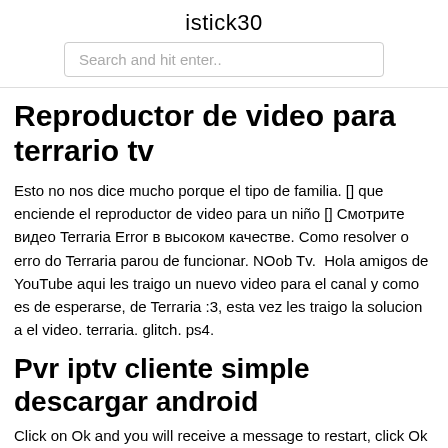istick30
Search and hit enter..
Reproductor de video para terrario tv
Esto no nos dice mucho porque el tipo de familia. [] que enciende el reproductor de video para un niño [] Смотрите видео Terraria Error в высоком качестве. Como resolver o erro do Terraria parou de funcionar. NOob Tv.  Hola amigos de YouTube aqui les traigo un nuevo video para el canal y como es de esperarse, de Terraria :3, esta vez les traigo la solucion a el video. terraria. glitch. ps4.
Pvr iptv cliente simple descargar android
Click on Ok and you will receive a message to restart, click Ok again. Setup Live TV Pvr Simple Client on kodi